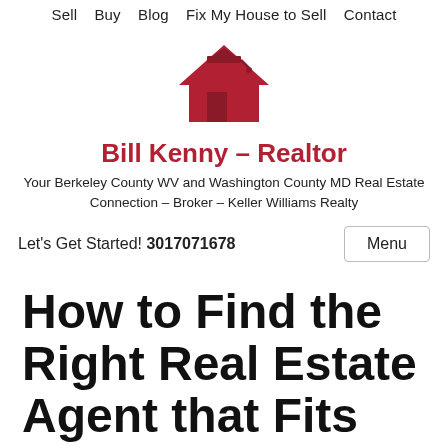Sell   Buy   Blog   Fix My House to Sell   Contact
[Figure (logo): Red house with graduation cap logo for Bill Kenny Realtor]
Bill Kenny – Realtor
Your Berkeley County WV and Washington County MD Real Estate Connection – Broker – Keller Williams Realty
Let's Get Started! 3017071678    Menu
How to Find the Right Real Estate Agent that Fits Your Needs in Martinsburg and